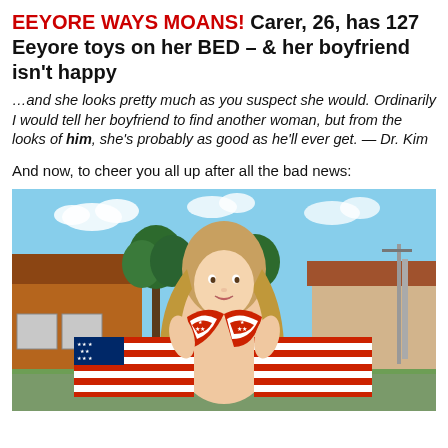EEYORE WAYS MOANS! Carer, 26, has 127 Eeyore toys on her BED – & her boyfriend isn't happy
…and she looks pretty much as you suspect she would. Ordinarily I would tell her boyfriend to find another woman, but from the looks of him, she's probably as good as he'll ever get. — Dr. Kim
And now, to cheer you all up after all the bad news:
[Figure (photo): Young woman in American flag bikini holding an American flag spread behind her, standing outdoors in a suburban setting with trees and brick houses in the background on a sunny day.]